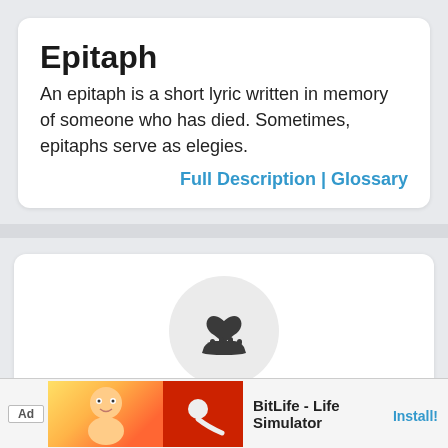Epitaph
An epitaph is a short lyric written in memory of someone who has died. Sometimes, epitaphs serve as elegies.
Full Description | Glossary
[Figure (illustration): A hand holding a heart icon inside a light gray circle, representing a donate or care icon.]
Thank you for your
Ad  BitLife - Life Simulator  Install!